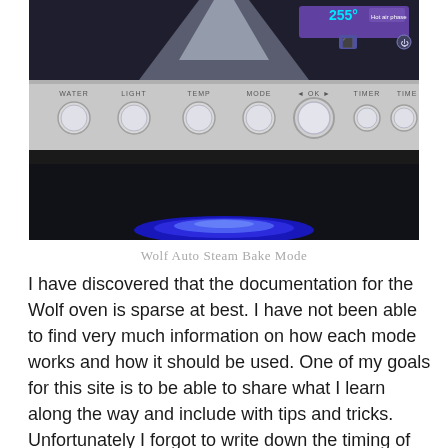[Figure (photo): Photo of a Wolf oven control panel showing the display reading '255°' with 'Hot air phase' on screen, and labeled knobs for WATER, LIGHT, TEMP, MODE, OK, TIMER, TIME. Blue flame visible at bottom of oven interior.]
Wolf Auto Steam Bake Mode
I have discovered that the documentation for the Wolf oven is sparse at best. I have not been able to find very much information on how each mode works and how it should be used. One of my goals for this site is to be able to share what I learn along the way and include with tips and tricks.
Unfortunately I forgot to write down the timing of